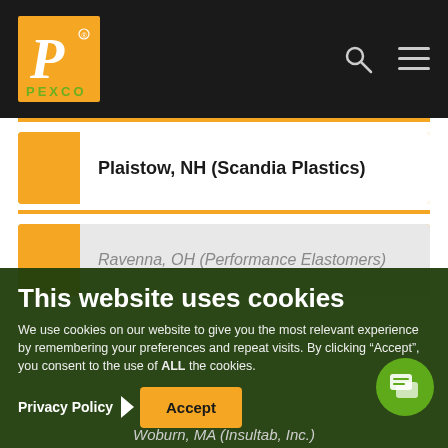[Figure (logo): PEXCO company logo: white italic P on orange/yellow background, with PEXCO text in green below]
PEXCO website navigation header with logo, search icon, and menu icon
Plaistow, NH (Scandia Plastics)
Ravenna, OH (Performance Elastomers)
This website uses cookies
We use cookies on our website to give you the most relevant experience by remembering your preferences and repeat visits. By clicking “Accept”, you consent to the use of ALL the cookies.
Privacy Policy
Accept
Woburn, MA (Insultab, Inc.)